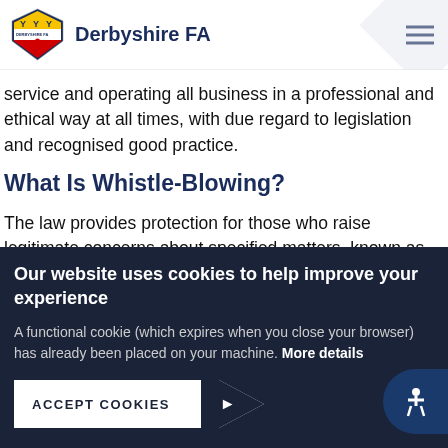Derbyshire FA
service and operating all business in a professional and ethical way at all times, with due regard to legislation and recognised good practice.
What Is Whistle-Blowing?
The law provides protection for those who raise legitimate concerns about specified matters, known as qualifying
Our website uses cookies to help improve your experience
A functional cookie (which expires when you close your browser) has already been placed on your machine. More details
ACCEPT COOKIES